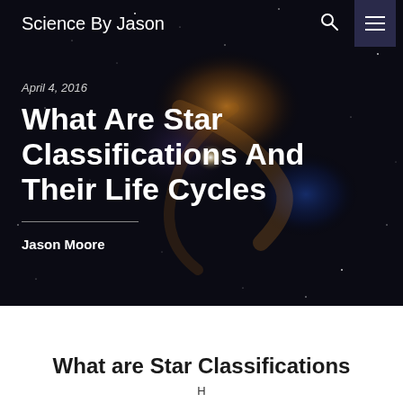Science By Jason
April 4, 2016
What Are Star Classifications And Their Life Cycles
Jason Moore
[Figure (photo): Deep space image showing a galaxy or nebula with orange and blue glowing clouds of gas and dust against a dark starfield background.]
What are Star Classifications